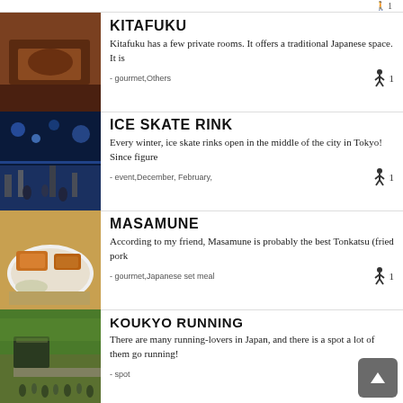KITAFUKU
Kitafuku has a few private rooms. It offers a traditional Japanese space. It is
- gourmet,Others  🚶 1
ICE SKATE RINK
Every winter, ice skate rinks open in the middle of the city in Tokyo! Since figure
- event,December, February,  🚶 1
MASAMUNE
According to my friend, Masamune is probably the best Tonkatsu (fried pork
- gourmet,Japanese set meal  🚶 1
KOUKYO RUNNING
There are many running-lovers in Japan, and there is a spot a lot of them go running!
- spot  🚶 1